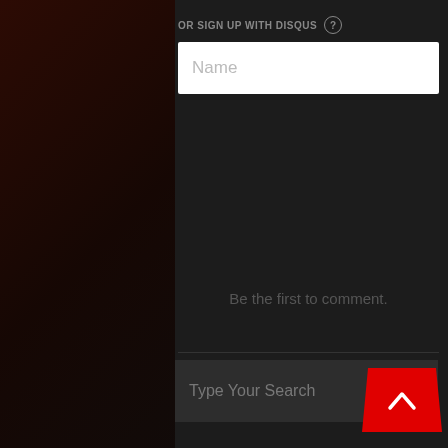OR SIGN UP WITH DISQUS ?
Name
Be the first to comment.
[Figure (screenshot): Subscribe icon (envelope) with label 'Subscribe']
Do Not Sell My Data
DISQUS
Type Your Search
[Figure (icon): Red trapezoid back-to-top button with upward chevron arrow]